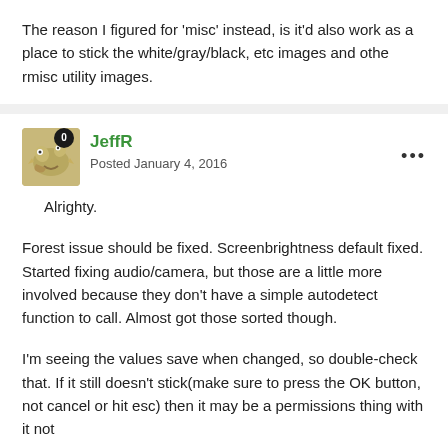The reason I figured for 'misc' instead, is it'd also work as a place to stick the white/gray/black, etc images and othe rmisc utility images.
JeffR
Posted January 4, 2016
Alrighty.
Forest issue should be fixed. Screenbrightness default fixed. Started fixing audio/camera, but those are a little more involved because they don't have a simple autodetect function to call. Almost got those sorted though.
I'm seeing the values save when changed, so double-check that. If it still doesn't stick(make sure to press the OK button, not cancel or hit esc) then it may be a permissions thing with it not